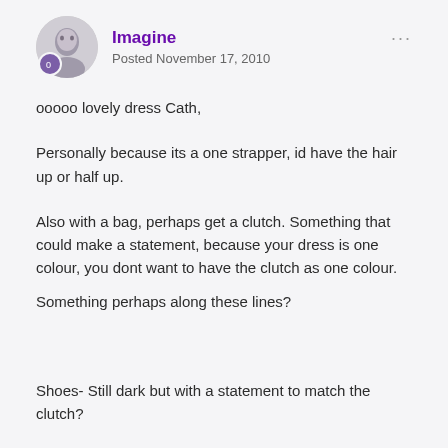Imagine
Posted November 17, 2010
ooooo lovely dress Cath,
Personally because its a one strapper, id have the hair up or half up.
Also with a bag, perhaps get a clutch. Something that could make a statement, because your dress is one colour, you dont want to have the clutch as one colour.

Something perhaps along these lines?
Shoes- Still dark but with a statement to match the clutch?